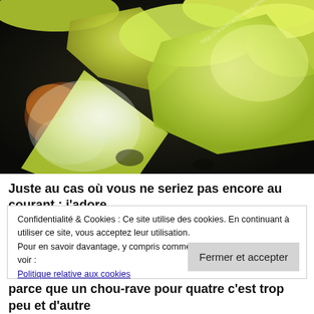[Figure (photo): Close-up photo of yellow-green cooked kohlrabi (chou-rave) pieces on a dark surface, with a browned roasted piece visible on the left. Watermark text reads http://lesrecettesdupanier.wordpress.com]
Juste au cas où vous ne seriez pas encore au courant : j'adore
Confidentialité & Cookies : Ce site utilise des cookies. En continuant à utiliser ce site, vous acceptez leur utilisation.
Pour en savoir davantage, y compris comment contrôler les cookies, voir :
Politique relative aux cookies
Fermer et accepter
parce que un chou-rave pour quatre c'est trop peu et d'autre